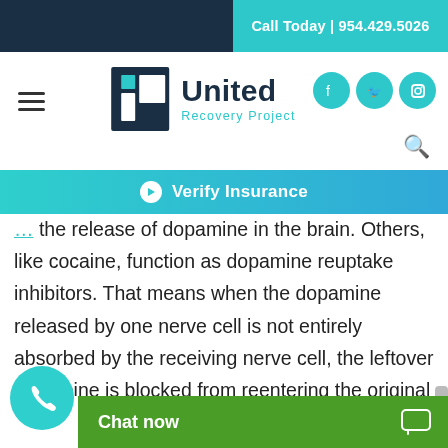Call Today | 954.429.5026
[Figure (logo): United Recovery Project logo with cross/plus icon in navy blue, and teal text 'United Recovery Project']
Verify Insurance
the release of dopamine in the brain. Others, like cocaine, function as dopamine reuptake inhibitors. That means when the dopamine released by one nerve cell is not entirely absorbed by the receiving nerve cell, the leftover dopamine is blocked from reentering the original nerve cell and stays in the gap between the two nerve cells. It's this intercellular dopamine that gets you feeling the way you do when you